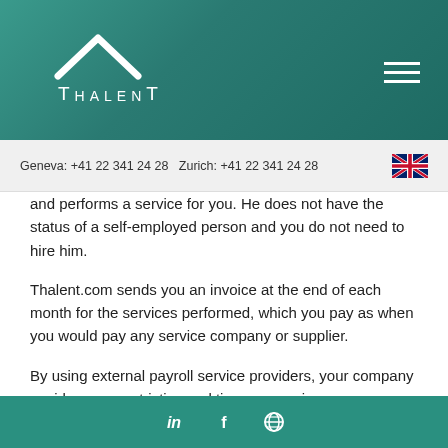[Figure (logo): Thalent logo with roof/house icon and stylized THALENT text in white on teal background]
Geneva: +41 22 341 24 28  Zurich: +41 22 341 24 28
and performs a service for you. He does not have the status of a self-employed person and you do not need to hire him.
Thalent.com sends you an invoice at the end of each month for the services performed, which you pay as when you would pay any service company or supplier.
By using external payroll service providers, your company avoids many restrictive and time-consuming administrative procedures and will be able to optimise its project outsourcing strategy.
3. Thalent.com services for the Consultant
in  f  🌐